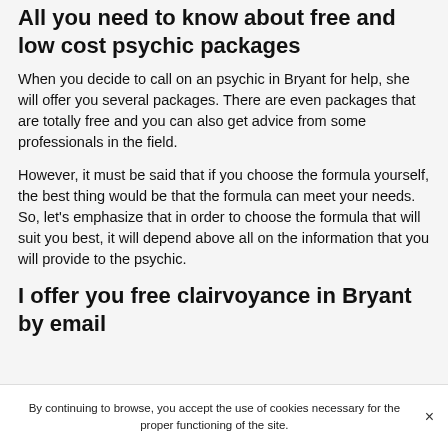All you need to know about free and low cost psychic packages
When you decide to call on an psychic in Bryant for help, she will offer you several packages. There are even packages that are totally free and you can also get advice from some professionals in the field.
However, it must be said that if you choose the formula yourself, the best thing would be that the formula can meet your needs. So, let's emphasize that in order to choose the formula that will suit you best, it will depend above all on the information that you will provide to the psychic.
I offer you free clairvoyance in Bryant by email
By continuing to browse, you accept the use of cookies necessary for the proper functioning of the site.